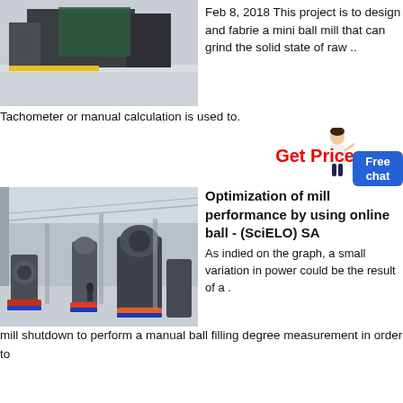[Figure (photo): Industrial machinery in a factory setting, showing large green equipment on a polished concrete floor.]
Feb 8, 2018 This project is to design and fabrie a mini ball mill that can grind the solid state of raw .. Tachometer or manual calculation is used to.
Get Price
[Figure (illustration): Illustration of a woman pointing, representing a chat assistant.]
Free chat
[Figure (photo): Large industrial milling machines in a warehouse facility with high ceilings and many grinding/milling units on colored platforms.]
Optimization of mill performance by using online ball - (SciELO) SA
As indied on the graph, a small variation in power could be the result of a . mill shutdown to perform a manual ball filling degree measurement in order to